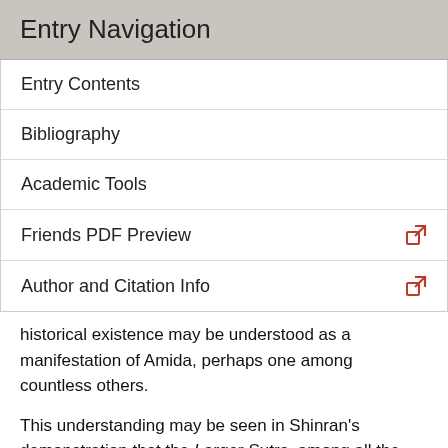Entry Navigation
Entry Contents
Bibliography
Academic Tools
Friends PDF Preview
Author and Citation Info
historical existence may be understood as a manifestation of Amida, perhaps one among countless others.
This understanding may be seen in Shinran's demonstration that the Larger Sutra, among all the sutras, expresses the true teaching for which Sakyamuni appeared in the world. Shinran focuses on the pattern in the sutras by which, prior to expounding dharma, the Buddha enters a profound samadhi and delves to the nondiscriminative wisdom that transcends words and concepts. On emerging from the samadhi, he reemerges into the realm of words and responds to questions from